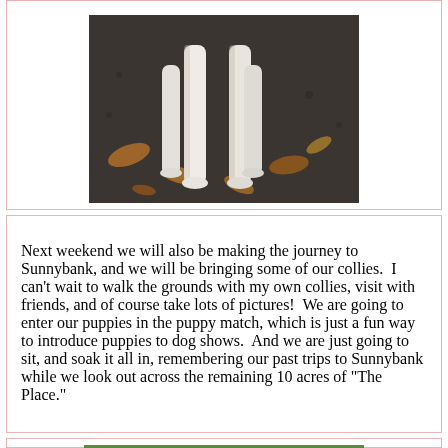[Figure (photo): Cropped photo showing the legs and lower body of a dog (possibly a collie) standing on dark gravel/mulch with autumn leaves, taken from a low angle.]
Next weekend we will also be making the journey to Sunnybank, and we will be bringing some of our collies.  I can’t wait to walk the grounds with my own collies, visit with friends, and of course take lots of pictures!  We are going to enter our puppies in the puppy match, which is just a fun way to introduce puppies to dog shows.  And we are just going to sit, and soak it all in, remembering our past trips to Sunnybank while we look out across the remaining 10 acres of “The Place.”
[Figure (photo): Photo of a smooth collie (sable and white) standing on green grass in a show pose on a leash, with people visible in the background.]